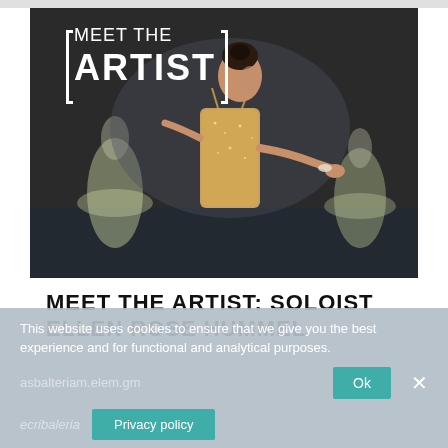[Figure (photo): A ballet dancer in a gold/beige beaded costume performs on stage, with blurred ballet dancers in white tutus in the background. A white 'Meet the Artist' overlay with bracket decoration appears in the top left of the image.]
MEET THE ARTIST: SOLOIST ELLEN ROSE HUMMEL
This website uses cookies to ensure that we give you the best experience and for functional and analytical purposes.
Ok
Privacy policy